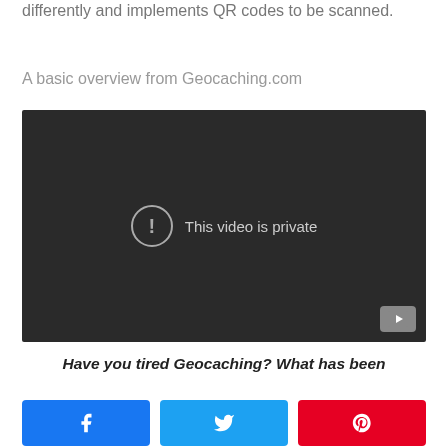differently and implements QR codes to be scanned.
A basic overview from Geocaching.com
[Figure (screenshot): Embedded video player showing 'This video is private' message with a warning icon and YouTube logo in the bottom right corner, on a dark background.]
Have you tired Geocaching? What has been
[Figure (infographic): Three social share buttons: Facebook (blue), Twitter (light blue), Pinterest (red).]